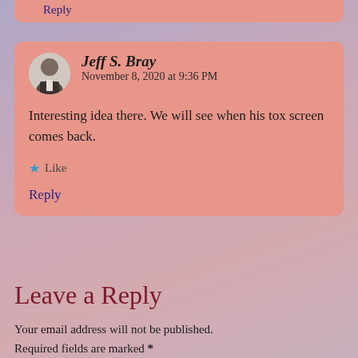Reply
Jeff S. Bray   November 8, 2020 at 9:36 PM
Interesting idea there. We will see when his tox screen comes back.
★ Like
Reply
Leave a Reply
Your email address will not be published. Required fields are marked *